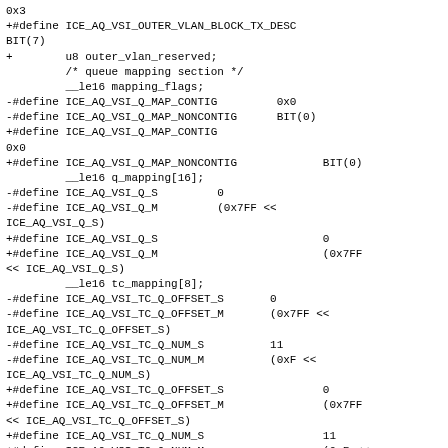0x3
+#define ICE_AQ_VSI_OUTER_VLAN_BLOCK_TX_DESC BIT(7)
+        u8 outer_vlan_reserved;
         /* queue mapping section */
         __le16 mapping_flags;
-#define ICE_AQ_VSI_Q_MAP_CONTIG         0x0
-#define ICE_AQ_VSI_Q_MAP_NONCONTIG      BIT(0)
+#define ICE_AQ_VSI_Q_MAP_CONTIG
0x0
+#define ICE_AQ_VSI_Q_MAP_NONCONTIG             BIT(0)
         __le16 q_mapping[16];
-#define ICE_AQ_VSI_Q_S         0
-#define ICE_AQ_VSI_Q_M         (0x7FF <<
ICE_AQ_VSI_Q_S)
+#define ICE_AQ_VSI_Q_S                         0
+#define ICE_AQ_VSI_Q_M                         (0x7FF
<< ICE_AQ_VSI_Q_S)
         __le16 tc_mapping[8];
-#define ICE_AQ_VSI_TC_Q_OFFSET_S       0
-#define ICE_AQ_VSI_TC_Q_OFFSET_M       (0x7FF <<
ICE_AQ_VSI_TC_Q_OFFSET_S)
-#define ICE_AQ_VSI_TC_Q_NUM_S          11
-#define ICE_AQ_VSI_TC_Q_NUM_M          (0xF <<
ICE_AQ_VSI_TC_Q_NUM_S)
+#define ICE_AQ_VSI_TC_Q_OFFSET_S               0
+#define ICE_AQ_VSI_TC_Q_OFFSET_M               (0x7FF
<< ICE_AQ_VSI_TC_Q_OFFSET_S)
+#define ICE_AQ_VSI_TC_Q_NUM_S                  11
+#define ICE_AQ_VSI_TC_Q_NUM_M                  (0xF <<